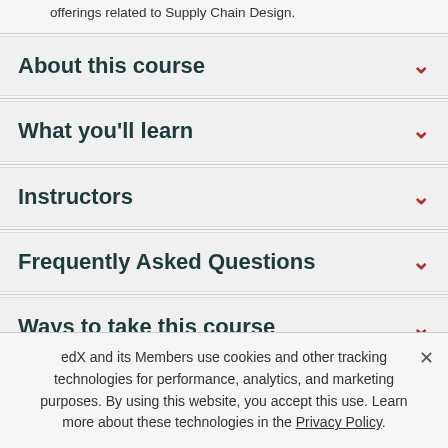I would like to receive email from MITx and learn about other offerings related to Supply Chain Design.
About this course
What you'll learn
Instructors
Frequently Asked Questions
Ways to take this course
Share this course
edX and its Members use cookies and other tracking technologies for performance, analytics, and marketing purposes. By using this website, you accept this use. Learn more about these technologies in the Privacy Policy.